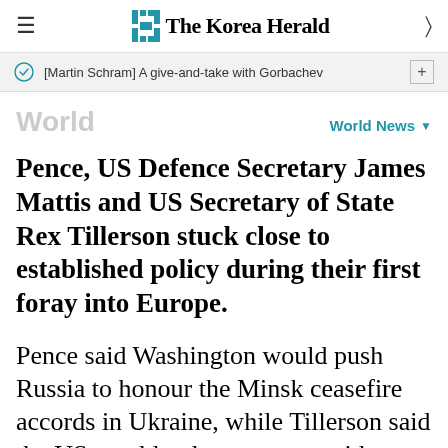The Korea Herald
[Martin Schram] A give-and-take with Gorbachev
World
World News
Pence, US Defence Secretary James Mattis and US Secretary of State Rex Tillerson stuck close to established policy during their first foray into Europe.
Pence said Washington would push Russia to honour the Minsk ceasefire accords in Ukraine, while Tillerson said the US would only cooperate with Moscow if it benefits the